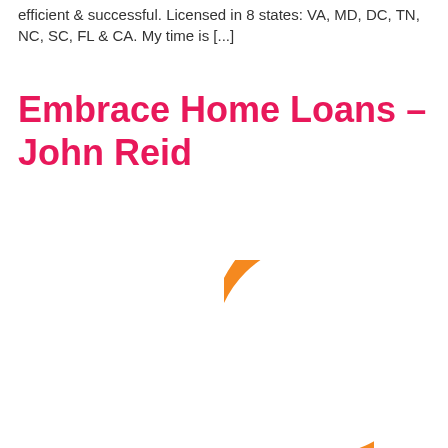efficient & successful. Licensed in 8 states: VA, MD, DC, TN, NC, SC, FL & CA. My time is [...]
Embrace Home Loans – John Reid
[Figure (logo): Embrace Home Loans orange 'e' swirl logo]